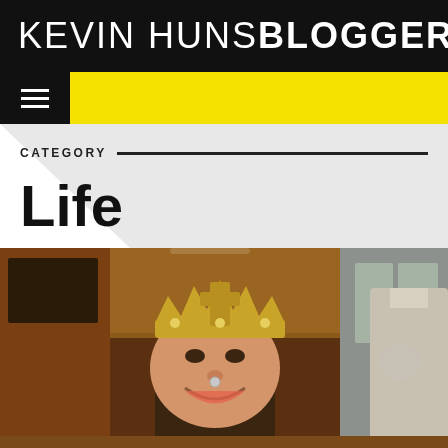KEVIN HUNSBLOGGER
[Figure (screenshot): Navigation bar with hamburger menu icon on dark background and yellow bar]
CATEGORY
Life
[Figure (photo): Photo of a man wearing a gold crown/tiara in what appears to be a restaurant, smiling at the camera. Another person in a light colored shirt is partially visible to the right. The background shows a dark wood interior with brick walls.]